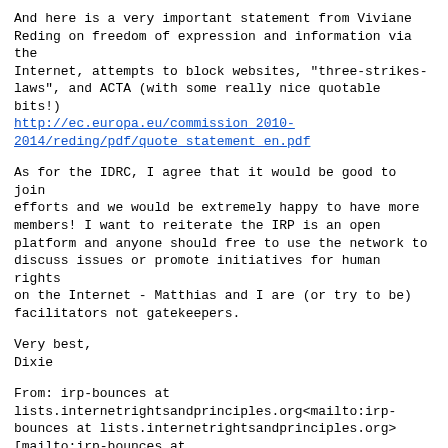And here is a very important statement from Viviane Reding on freedom of expression and information via the Internet, attempts to block websites, "three-strikes-laws", and ACTA (with some really nice quotable bits!) http://ec.europa.eu/commission_2010-2014/reding/pdf/quote_statement_en.pdf
As for the IDRC, I agree that it would be good to join efforts and we would be extremely happy to have more members! I want to reiterate the IRP is an open platform and anyone should free to use the network to discuss issues or promote initiatives for human rights on the Internet - Matthias and I are (or try to be) facilitators not gatekeepers.
Very best,
Dixie
From: irp-bounces at lists.internetrightsandprinciples.org<mailto:irp-bounces at lists.internetrightsandprinciples.org> [mailto:irp-bounces at lists.internetrightsandprinciples.org] On Behalf Of Matthias C. Kettemann
Sent: 16 February 2012 08:02
To: irp at lists.internetrightsandprinciples.org<mailto:irp at lists.internetrightsandprinciples.org>
Subject: [IRP] EU selects ICT sector for study on implementing corporate responsibility to respect human